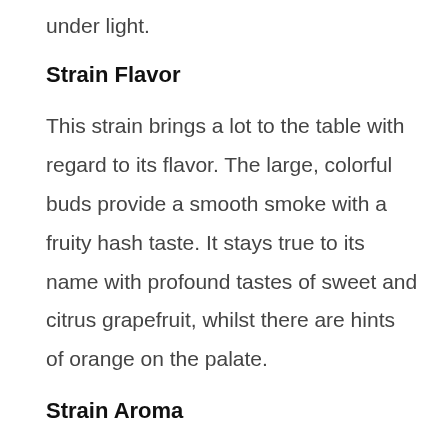under light.
Strain Flavor
This strain brings a lot to the table with regard to its flavor. The large, colorful buds provide a smooth smoke with a fruity hash taste. It stays true to its name with profound tastes of sweet and citrus grapefruit, whilst there are hints of orange on the palate.
Strain Aroma
The strain has a strong and pungent fruity aroma, with a sweet and citrus smell. Its earthy and